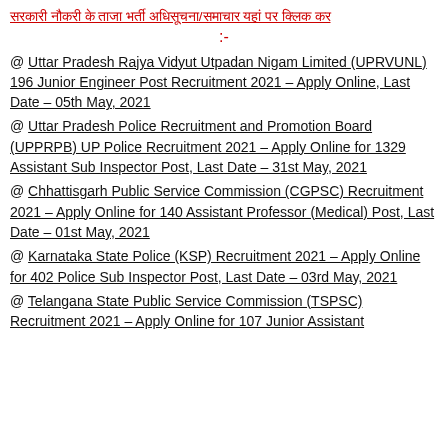सरकारी नौकरी के ताजा भर्ती अधिसूचना/समाचार यहां पर क्लिक कर
:-
@ Uttar Pradesh Rajya Vidyut Utpadan Nigam Limited (UPRVUNL) 196 Junior Engineer Post Recruitment 2021 – Apply Online, Last Date – 05th May, 2021
@ Uttar Pradesh Police Recruitment and Promotion Board (UPPRPB) UP Police Recruitment 2021 – Apply Online for 1329 Assistant Sub Inspector Post, Last Date – 31st May, 2021
@ Chhattisgarh Public Service Commission (CGPSC) Recruitment 2021 – Apply Online for 140 Assistant Professor (Medical) Post, Last Date – 01st May, 2021
@ Karnataka State Police (KSP) Recruitment 2021 – Apply Online for 402 Police Sub Inspector Post, Last Date – 03rd May, 2021
@ Telangana State Public Service Commission (TSPSC) Recruitment 2021 – Apply Online for 107 Junior Assistant